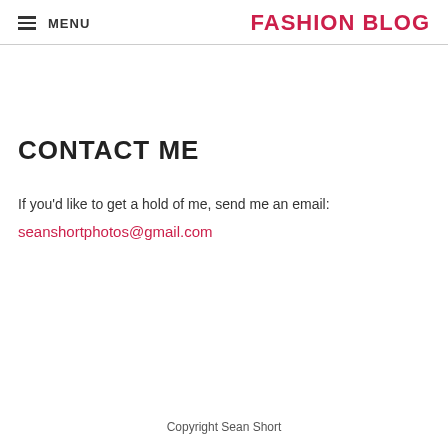MENU | FASHION BLOG
CONTACT ME
If you'd like to get a hold of me, send me an email:
seanshortphotos@gmail.com
Copyright Sean Short